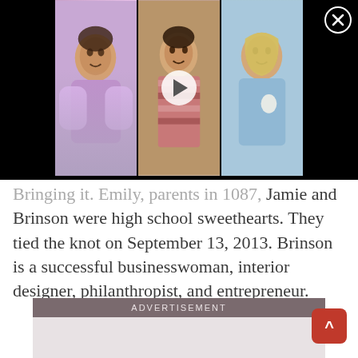[Figure (photo): Video overlay with three thumbnail images of women and a play button in the center, on a black background. A close (X) button is in the top right corner.]
and Brinson were high school sweethearts. They tied the knot on September 13, 2013. Brinson is a successful businesswoman, interior designer, philanthropist, and entrepreneur.
ADVERTISEMENT
[Figure (other): Advertisement placeholder box with a grey header and light grey body.]